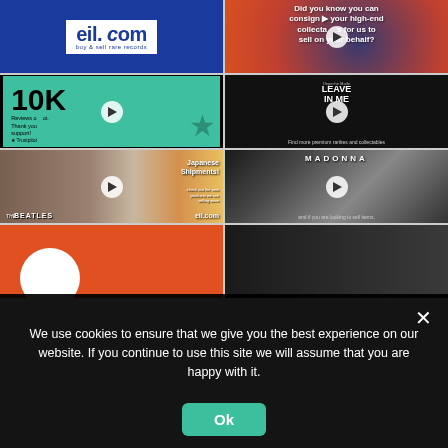[Figure (screenshot): eil.com logo - buy & sell rare records on blue background]
[Figure (screenshot): Orange/red background with text: Did you know you can consign your high-end collectables for us to sell on your behalf?]
[Figure (screenshot): 10K Reviews on Trustpilot - Thank you for your support, on teal background with star shape]
[Figure (screenshot): Depeche Mode Leave In Me album - Find more premium rarities and collectables]
[Figure (screenshot): Japanese Shipment - Beatles records with eil.com branding]
[Figure (screenshot): Madonna portrait - and if you are looking to sell items]
[Figure (screenshot): Red circle partial image]
[Figure (screenshot): Dark partial image]
We use cookies to ensure that we give you the best experience on our website. If you continue to use this site we will assume that you are happy with it.